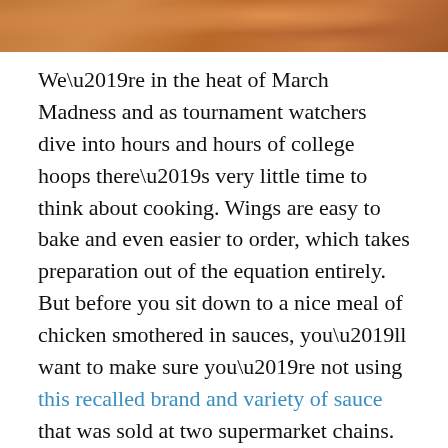[Figure (photo): Close-up photo of chicken wings with sauce, partially cropped at the top of the page.]
We’re in the heat of March Madness and as tournament watchers dive into hours and hours of college hoops there’s very little time to think about cooking. Wings are easy to bake and even easier to order, which takes preparation out of the equation entirely. But before you sit down to a nice meal of chicken smothered in sauces, you’ll want to make sure you’re not using this recalled brand and variety of sauce that was sold at two supermarket chains.
The condiment, called Taste of Inspirations Parmesan Garlic Wing Sauce, looks normal from